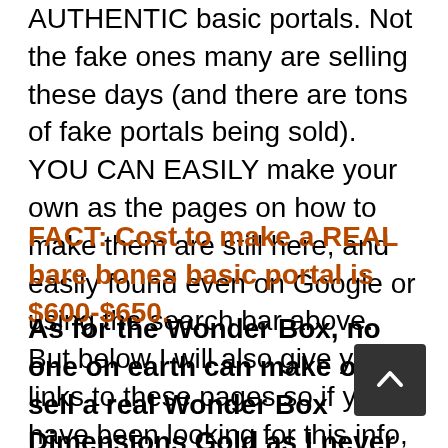AUTHENTIC basic portals. Not the fake ones many are selling these days (and there are tons of fake portals being sold). YOU CAN EASILY make your own as the pages on how to make them are still here, and easily found even on Google or using the search bar above. But below I will also give you links to these pages so if you have been looking for this info, read on!
FACT: Cost to make a REAL bare bones basic portal is $600-$650.
As for the Wonder Box, no one on earth can make or sell a real Wonder Box Dimensions Gold as I never released how they are made, and it is protected. Also know this fact... the cost to make ONE Wonder Box Dimensions Gold (my latest is $2400. (That is COST of parts for me to make one). The store number of times to make A...